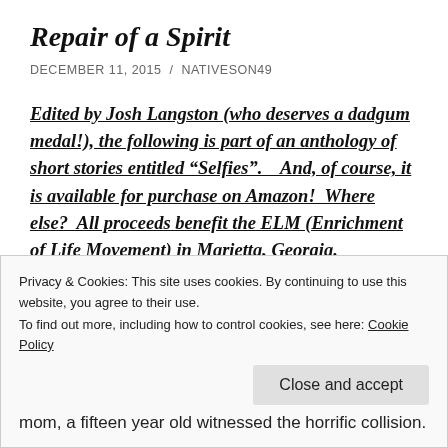Repair of a Spirit
DECEMBER 11, 2015 / NATIVESON49
Edited by Josh Langston (who deserves a dadgum medal!), the following is part of an anthology of short stories entitled “Selfies”.    And, of course, it is available for purchase on Amazon!  Where else?  All proceeds benefit the ELM (Enrichment of Life Movement) in Marietta, Georgia.
-
Privacy & Cookies: This site uses cookies. By continuing to use this website, you agree to their use.
To find out more, including how to control cookies, see here: Cookie Policy
Close and accept
mom, a fifteen year old witnessed the horrific collision.